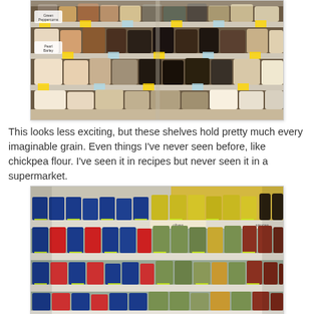[Figure (photo): Supermarket shelves stocked with various bags of grains, including items labeled 'Pearl Barley' and 'Green Peppercorns', arranged on multiple white shelving units.]
This looks less exciting, but these shelves hold pretty much every imaginable grain. Even things I've never seen before, like chickpea flour. I've seen it in recipes but never seen it in a supermarket.
[Figure (photo): Supermarket shelves densely stocked with jars and cans of various preserved foods, olives, sauces, and condiments arranged on multiple white shelving units.]